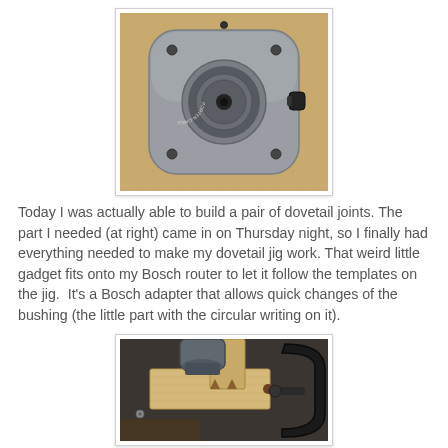[Figure (photo): Top-down view of a Bosch router adapter/base plate with a circular bushing in the center, sitting on a wooden surface. The adapter is gray metal with a central circular component that has text written around it in a circle.]
Today I was actually able to build a pair of dovetail joints. The part I needed (at right) came in on Thursday night, so I finally had everything needed to make my dovetail jig work. That weird little gadget fits onto my Bosch router to let it follow the templates on the jig.  It's a Bosch adapter that allows quick changes of the bushing (the little part with the circular writing on it).
[Figure (photo): Close-up photo of a router being used with a dovetail jig. Wood pieces are clamped in the jig with a large black C-clamp visible on the right side. The router is positioned above the wooden workpieces.]